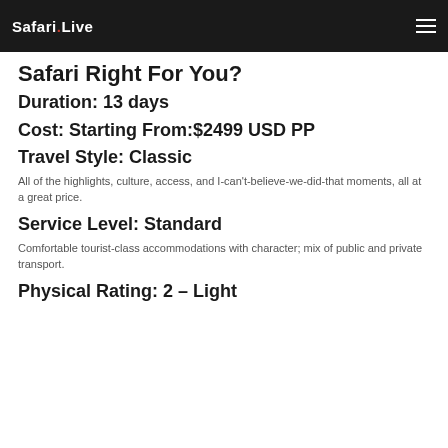Safari Live
Safari Right For You?
Duration: 13 days
Cost: Starting From:$2499 USD PP
Travel Style: Classic
All of the highlights, culture, access, and I-can't-believe-we-did-that moments, all at a great price.
Service Level: Standard
Comfortable tourist-class accommodations with character; mix of public and private transport.
Physical Rating: 2 – Light